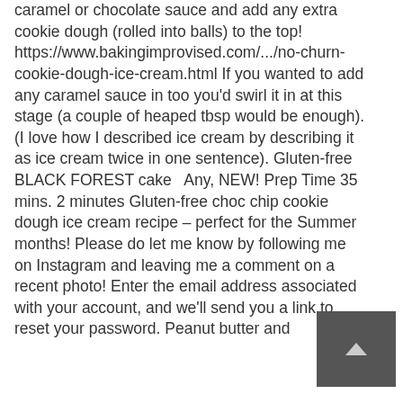caramel or chocolate sauce and add any extra cookie dough (rolled into balls) to the top! https://www.bakingimprovised.com/.../no-churn-cookie-dough-ice-cream.html If you wanted to add any caramel sauce in too you'd swirl it in at this stage (a couple of heaped tbsp would be enough). (I love how I described ice cream by describing it as ice cream twice in one sentence). Gluten-free BLACK FOREST cake  Any, NEW! Prep Time 35 mins. 2 minutes Gluten-free choc chip cookie dough ice cream recipe – perfect for the Summer months! Please do let me know by following me on Instagram and leaving me a comment on a recent photo! Enter the email address associated with your account, and we'll send you a link to reset your password. Peanut butter and
[Figure (other): Dark grey scroll-to-top button with upward arrow icon, positioned at bottom right]